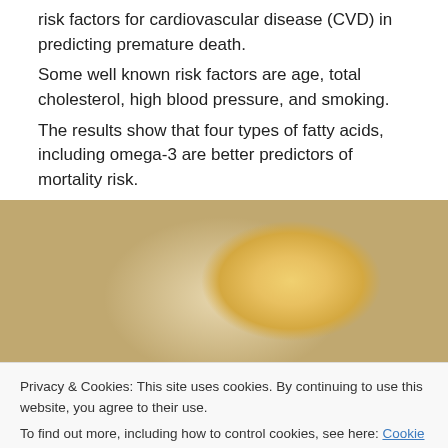risk factors for cardiovascular disease (CVD) in predicting premature death.
Some well known risk factors are age, total cholesterol, high blood pressure, and smoking.
The results show that four types of fatty acids, including omega-3 are better predictors of mortality risk.
[Figure (photo): Close-up photo of food items including what appears to be a creamy fish or salad dish with yellow/orange elements and purple accents on a plate.]
Privacy & Cookies: This site uses cookies. By continuing to use this website, you agree to their use.
To find out more, including how to control cookies, see here: Cookie Policy
Close and accept
[Figure (photo): Partial view of another food photo at the bottom of the page, showing green elements.]